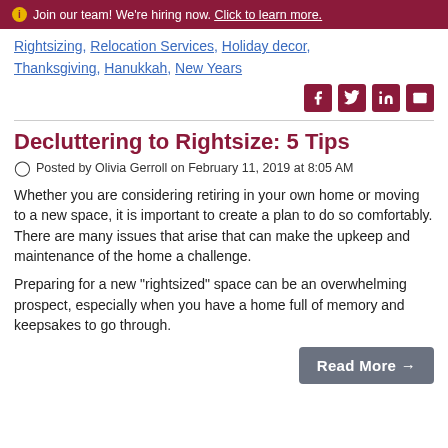Join our team! We're hiring now. Click to learn more.
Rightsizing, Relocation Services, Holiday decor, Thanksgiving, Hanukkah, New Years
Decluttering to Rightsize: 5 Tips
Posted by Olivia Gerroll on February 11, 2019 at 8:05 AM
Whether you are considering retiring in your own home or moving to a new space, it is important to create a plan to do so comfortably. There are many issues that arise that can make the upkeep and maintenance of the home a challenge.
Preparing for a new "rightsized" space can be an overwhelming prospect, especially when you have a home full of memory and keepsakes to go through.
Read More →